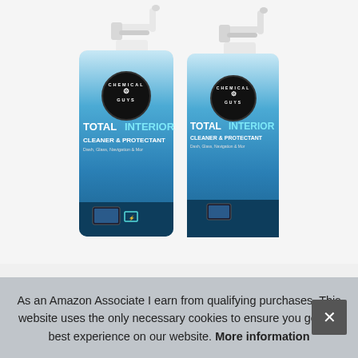[Figure (photo): Two Chemical Guys Total Interior Cleaner & Protectant spray bottles (Dash, Glass, Navigation & More), shown side by side with white trigger sprayers on top and blue label with car interior graphic.]
As an Amazon Associate I earn from qualifying purchases. This website uses the only necessary cookies to ensure you get the best experience on our website. More information